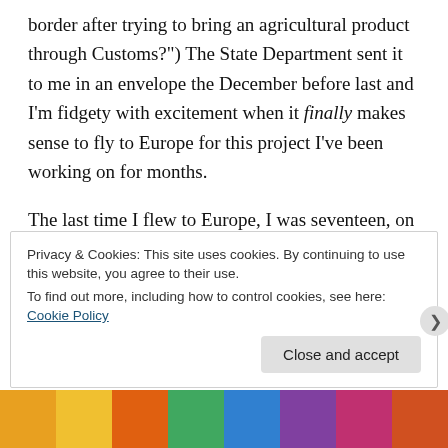border after trying to bring an agricultural product through Customs?") The State Department sent it to me in an envelope the December before last and I'm fidgety with excitement when it finally makes sense to fly to Europe for this project I've been working on for months.
The last time I flew to Europe, I was seventeen, on a school tour. We took photos of ourselves posing in a circle around a Beefeater at the Tower of London and walking the crosswalk at Abbey Road. This time, I'm 25 and I spend the flight pounding out the script for a
Privacy & Cookies: This site uses cookies. By continuing to use this website, you agree to their use.
To find out more, including how to control cookies, see here: Cookie Policy
Close and accept